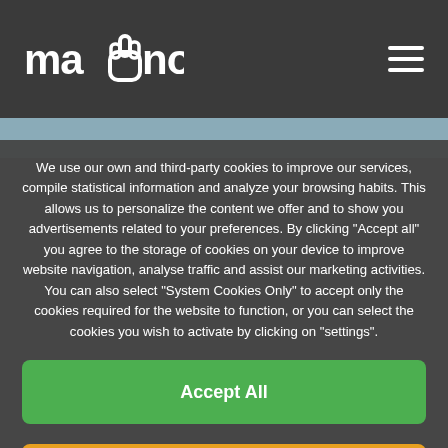[Figure (logo): Mano logo with hand icon in white on dark background, top left]
[Figure (illustration): Hamburger menu icon (three horizontal lines) top right]
We use our own and third-party cookies to improve our services, compile statistical information and analyze your browsing habits. This allows us to personalize the content we offer and to show you advertisements related to your preferences. By clicking "Accept all" you agree to the storage of cookies on your device to improve website navigation, analyse traffic and assist our marketing activities. You can also select "System Cookies Only" to accept only the cookies required for the website to function, or you can select the cookies you wish to activate by clicking on "settings".
Accept All
Only sistem cookies
Configuration